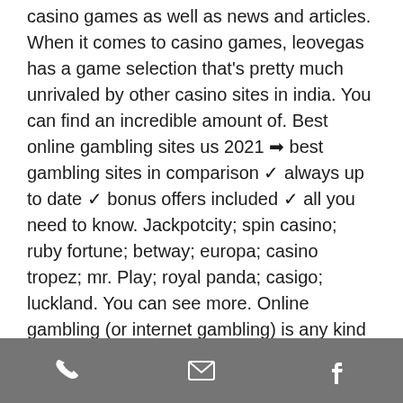casino games as well as news and articles. When it comes to casino games, leovegas has a game selection that's pretty much unrivaled by other casino sites in india. You can find an incredible amount of. Best online gambling sites us 2021 ➡ best gambling sites in comparison ✓ always up to date ✓ bonus offers included ✓ all you need to know. Jackpotcity; spin casino; ruby fortune; betway; europa; casino tropez; mr. Play; royal panda; casigo; luckland. You can see more. Online gambling (or internet gambling) is any kind of gambling conducted on the internet. In-play gambling is a feature on many online sports betting websites that. What is the best uk online casino site or app in 2021? our award-winning industry experts give you the latest top uk casino reviews and great casino. List of the best usa online
phone | email | facebook